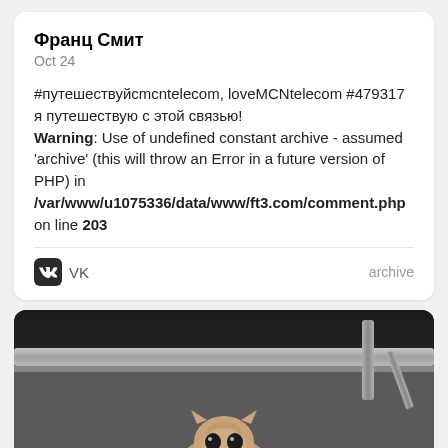Франц Смит
Oct 24
#путешествуйcmcntelecom, loveMCNtelecom #479317 я путешествую с этой связью!
Warning: Use of undefined constant archive - assumed 'archive' (this will throw an Error in a future version of PHP) in /var/www/u1075336/data/www/ft3.com/comment.php on line 203
VK   archive
[Figure (photo): A flat-faced cat (Scottish Fold or similar breed) lying on a dark gray carpet, with metal furniture legs visible in the background against a dark background.]